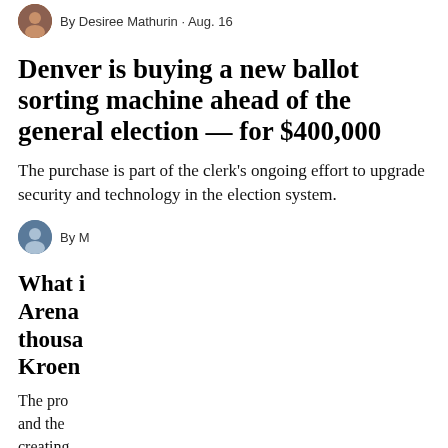By Desiree Mathurin · Aug. 16
Denver is buying a new ballot sorting machine ahead of the general election — for $400,000
The purchase is part of the clerk's ongoing effort to upgrade security and technology in the election system.
By M
What i Arena thousa Kroen
The pro and the creating
[Figure (other): Newsletter signup modal overlay with dark purple background. Title: 'You clearly care about Denver.' Subtitle in yellow: 'Sign up for our newsletter and get everything you need to know about the city you love.' Email input field with placeholder 'Enter your email address here...' and a yellow 'Sign me up!' button. Close button (X) in purple circle in top right corner.]